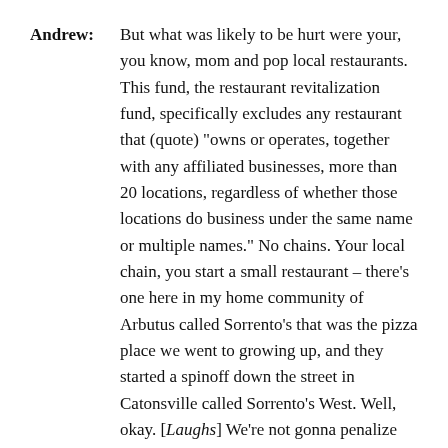Andrew: But what was likely to be hurt were your, you know, mom and pop local restaurants.  This fund, the restaurant revitalization fund, specifically excludes any restaurant that (quote) "owns or operates, together with any affiliated businesses, more than 20 locations, regardless of whether those locations do business under the same name or multiple names."  No chains.  Your local chain, you start a small restaurant – there's one here in my home community of Arbutus called Sorrento's that was the pizza place we went to growing up, and they started a spinoff down the street in Catonsville called Sorrento's West.  Well, okay.  [Laughs] We're not gonna penalize the American dream, but you know the difference between a local business and, you know, Outback.
Thomas: Yeah.
Andrew: We're not bailing out Outback.  $5 billion